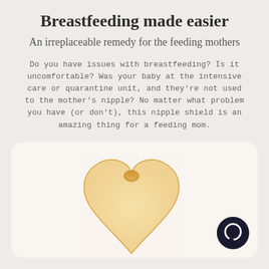Breastfeeding made easier
An irreplaceable remedy for the feeding mothers
Do you have issues with breastfeeding? Is it uncomfortable? Was your baby at the intensive care or quarantine unit, and they're not used to the mother's nipple? No matter what problem you have (or don't), this nipple shield is an amazing thing for a feeding mom.
[Figure (illustration): A heart-shaped translucent silicone nipple shield with a small raised nipple tip in the center, shown against a light cream background. A dark round chat bubble icon is visible in the lower right corner.]